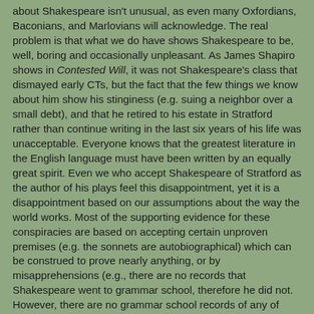about Shakespeare isn't unusual, as even many Oxfordians, Baconians, and Marlovians will acknowledge. The real problem is that what we do have shows Shakespeare to be, well, boring and occasionally unpleasant. As James Shapiro shows in Contested Will, it was not Shakespeare's class that dismayed early CTs, but the fact that the few things we know about him show his stinginess (e.g. suing a neighbor over a small debt), and that he retired to his estate in Stratford rather than continue writing in the last six years of his life was unacceptable. Everyone knows that the greatest literature in the English language must have been written by an equally great spirit. Even we who accept Shakespeare of Stratford as the author of his plays feel this disappointment, yet it is a disappointment based on our assumptions about the way the world works. Most of the supporting evidence for these conspiracies are based on accepting certain unproven premises (e.g. the sonnets are autobiographical) which can be construed to prove nearly anything, or by misapprehensions (e.g., there are no records that Shakespeare went to grammar school, therefore he did not. However, there are no grammar school records of any of Shakespeare's peers, some of whom went on to attend Oxford). But the reason there are conspiracies about Shakespeare at all is the belief we have about the personal qualities of a great artist.
We can see in the given examples how conspiracy theories arise logically. Logically, if not reasonably. They are logical in the sense that they do start from some condition, this is how...